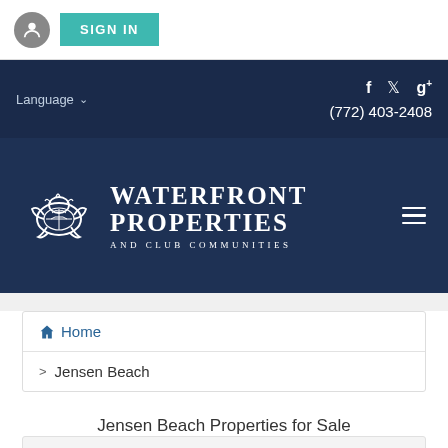SIGN IN
Language  f  Twitter  g+  (772) 403-2408
[Figure (logo): Waterfront Properties and Club Communities logo with turtle icon]
Home
Jensen Beach
Jensen Beach Properties for Sale
All Listings   Under $100,000   $100,000 - $200,000